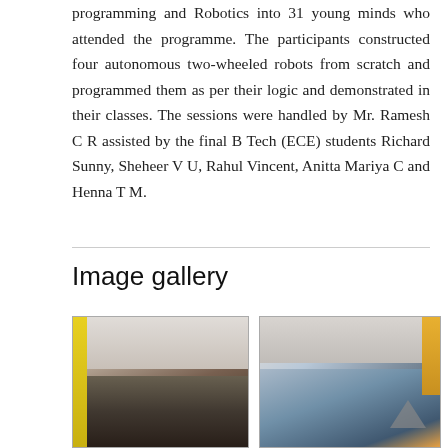programming and Robotics into 31 young minds who attended the programme. The participants constructed four autonomous two-wheeled robots from scratch and programmed them as per their logic and demonstrated in their classes. The sessions were handled by Mr. Ramesh C R assisted by the final B Tech (ECE) students Richard Sunny, Sheheer V U, Rahul Vincent, Anitta Mariya C and Henna T M.
Image gallery
[Figure (photo): Classroom scene showing students working on computers, with a yellow strip on the left side of the image]
[Figure (photo): Students working together on robotics components, close-up view with an orange/yellow element visible]